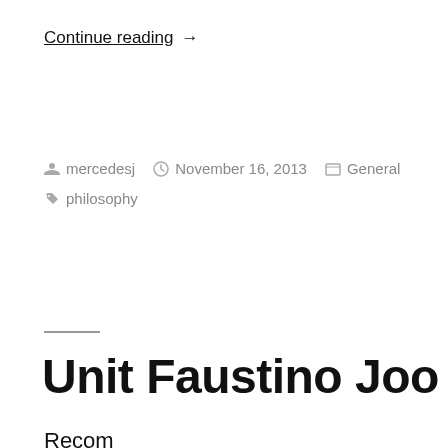Continue reading →
mercedesj  November 16, 2013  General  philosophy
Unit Faustino Joo
Recom...